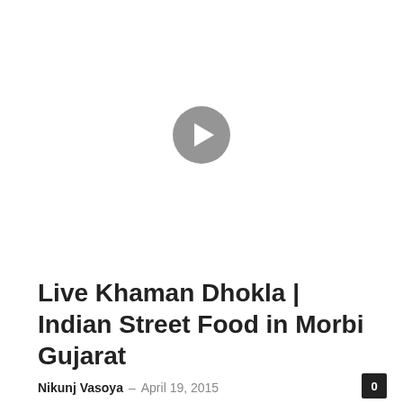[Figure (screenshot): Video thumbnail placeholder with a play button (circle with right-pointing triangle) centered on a white background]
Live Khaman Dhokla | Indian Street Food in Morbi Gujarat
Nikunj Vasoya — April 19, 2015
0